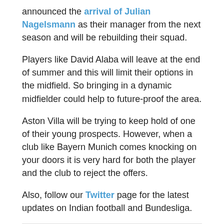announced the arrival of Julian Nagelsmann as their manager from the next season and will be rebuilding their squad.
Players like David Alaba will leave at the end of summer and this will limit their options in the midfield. So bringing in a dynamic midfielder could help to future-proof the area.
Aston Villa will be trying to keep hold of one of their young prospects. However, when a club like Bayern Munich comes knocking on your doors it is very hard for both the player and the club to reject the offers.
Also, follow our Twitter page for the latest updates on Indian football and Bundesliga.
RELATED ITEMS:  ASTON VILLA, BAYERN MUNICH